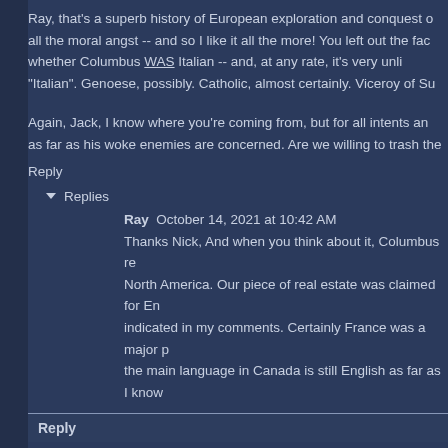Ray, that's a superb history of European exploration and conquest of all the moral angst -- and so I like it all the more! You left out the fact whether Columbus WAS Italian -- and, at any rate, it's very unlikely he was "Italian". Genoese, possibly. Catholic, almost certainly. Viceroy of Su
Again, Jack, I know where you're coming from, but for all intents and as far as his woke enemies are concerned. Are we willing to trash the
Reply
Replies
Ray  October 14, 2021 at 10:42 AM
Thanks Nick, And when you think about it, Columbus re North America. Our piece of real estate was claimed for En indicated in my comments. Certainly France was a major p the main language in Canada is still English as far as I know
Reply
Anonymous  October 14, 2021 at 9:51 AM
Dr. Waddy from Jack : I appreciate your frankness as always. You a "feel" no obligation to any who support them in any way. Even